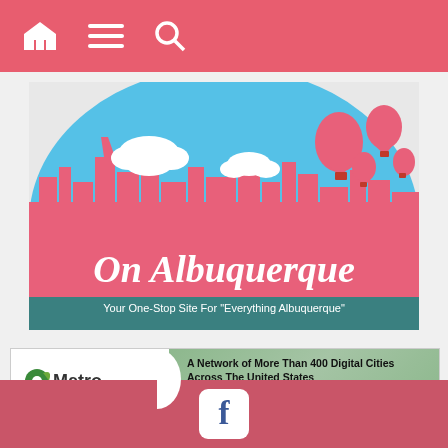Navigation bar with home, menu, and search icons
[Figure (logo): On Albuquerque logo - colorful illustration with city skyline, hot air balloons, blue sky, and text 'On Albuquerque - Your One-Stop Site For Everything Albuquerque']
[Figure (infographic): ONMetro banner - A Network of More Than 400 Digital Cities Across The United States. Learn more about our rapidly growing network of local Media-Class Publishing Sites OnMetro.com]
Home » Reviews » Movie Reviews » Erin Go AARGH! (Review: Boys From County Hell)
[Figure (logo): Facebook social media icon in white rounded square on pink/red background footer bar]